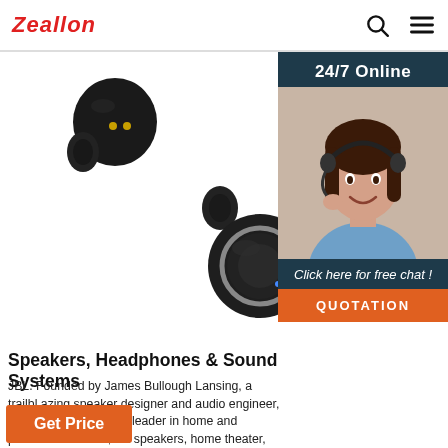Zeallon [search icon] [menu icon]
[Figure (photo): Three black TWS wireless earbuds/earphones shown floating on white background. Top left shows a small earbud with gold contacts. Top right shows partial view of a charging case. Center bottom shows a larger earbud with metallic ring detail. Right side shows a customer service agent (woman with headset smiling) with '24/7 Online' header, 'Click here for free chat!' text, and orange 'QUOTATION' button.]
Speakers, Headphones & Sound Systems
JBL. Founded by James Bullough Lansing, a trailblazing speaker designer and audio engineer, JBL is a global market leader in home and professional audio, hifi speakers, home theater, car audio, headphones and soundbars. Today we are at the forefront of headphone technology, home audio and professional audio components and speaker systems.
Get Price